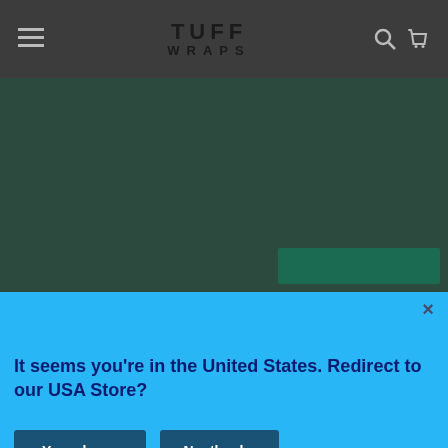TUFF WRAPS navigation header with hamburger menu, logo, search and cart icons
[Figure (screenshot): Dark green website background with a green button partially visible]
It seems you're in the United States. Redirect to our USA Store?
Yes, please
No, thanks
shopping experience. By using this site, you agree to its use of cookies.
I agree
100%
TUFF Rewards